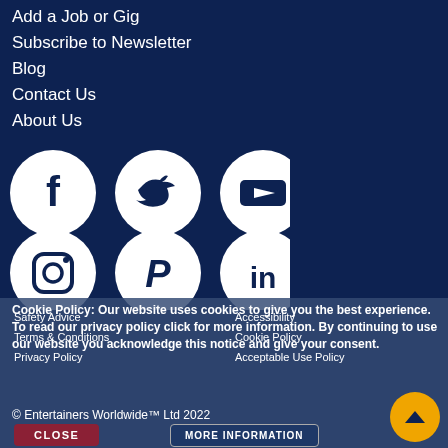Add a Job or Gig
Subscribe to Newsletter
Blog
Contact Us
About Us
[Figure (illustration): Six social media icon circles in two rows: Facebook, Twitter, YouTube (top row); Instagram, Pinterest, LinkedIn (bottom row). White circles on dark navy background.]
Cookie Policy: Our website uses cookies to give you the best experience. To read our privacy policy click for more information. By continuing to use our website you acknowledge this notice and give your consent.
Safety Advice
Accessibility
Terms & Conditions
Cookie Policy
Privacy Policy
Acceptable Use Policy
© Entertainers Worldwide™ Ltd 2022